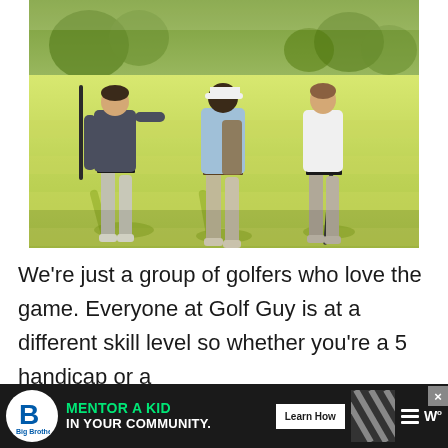[Figure (photo): Three golfers viewed from behind walking on a sunlit golf course. Left golfer wears a dark gray shirt and light gray pants, middle golfer wears a light blue shirt with a white cap and beige pants, right golfer wears a white shirt and gray pants. All carry or have golf clubs. Long shadows cast on bright green fairway grass.]
We're just a group of golfers who love the game. Everyone at Golf Guy is at a different skill level so whether you're a 5 handicap or a
[Figure (infographic): Advertisement banner: Big Brothers Big Sisters logo on left (circular white background with 'B' logo). Green bold text 'MENTOR A KID' with white text 'IN YOUR COMMUNITY.' A white 'Learn How' button. Diagonal stripe pattern. Menu hamburger icon. Brand mark with degree symbol. X close button in top right of banner.]